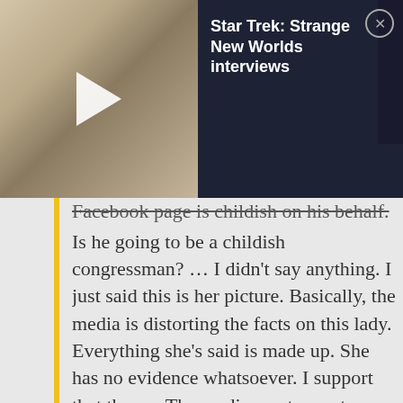[Figure (screenshot): Video thumbnail showing a woman with blonde hair, with a play button overlay. Dark panel to the right shows 'Star Trek: Strange New Worlds interviews' title with a close button.]
Facebook page is childish on his behalf. Is he going to be a childish congressman? … I didn't say anything. I just said this is her picture. Basically, the media is distorting the facts on this lady. Everything she's said is made up. She has no evidence whatsoever. I support that theory. The media wants you to think she was a beautiful young lady who was on her way home from the tennis courts….I just wanted you to see the real person. I wanted people to